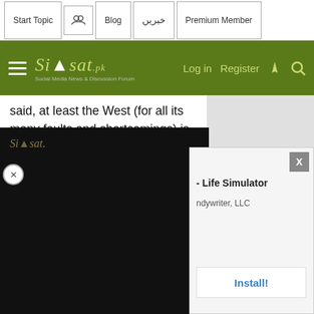Start Topic | [icon] | Blog | خبریں | Premium Member
[Figure (logo): Siasat.pk logo — green bar with hamburger menu, logo text, Log in, Register, lightning and search icons]
said, at least the West (for all its many faults and shortcomings) is getting more transparent about such issues, esp with women getting a voice in numerous fields
[Figure (screenshot): Embedded link preview: thumbnail image with text 'Exhibit Of Sex Assault ...' and 'Click to expand...']
Neither did you cite any research nor did you go through a single one of those I referred earlier. A...
[Figure (screenshot): Popup overlay: left dark video panel showing Siasat logo; right app promo panel showing '- Life Simulator', 'ndywriter, LLC', Install! button, and X close button]